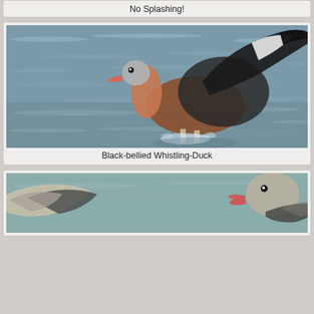No Splashing!
[Figure (photo): A Black-bellied Whistling-Duck with wings spread wide, running/landing on water surface, with ripples and splashes visible. The duck has a rusty-brown body, long neck, pink bill, and distinctive black-and-white wing pattern.]
Black-bellied Whistling-Duck
[Figure (photo): Partial view of another duck (likely another Black-bellied Whistling-Duck) on water, showing head with pink bill open and wing feathers visible, cropped at bottom of page.]